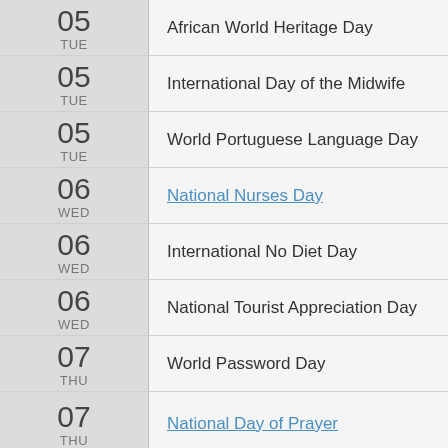05 TUE – African World Heritage Day
05 TUE – International Day of the Midwife
05 TUE – World Portuguese Language Day
06 WED – National Nurses Day
06 WED – International No Diet Day
06 WED – National Tourist Appreciation Day
07 THU – World Password Day
07 THU – National Day of Prayer